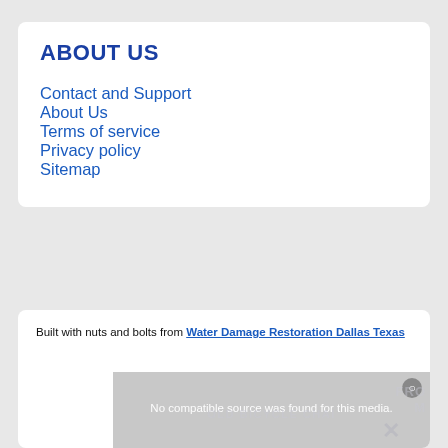ABOUT US
Contact and Support
About Us
Terms of service
Privacy policy
Sitemap
Built with nuts and bolts from Water Damage Restoration Dallas Texas
[Figure (screenshot): Video overlay showing 'No compatible source was found for this media.' message over a bicycle chain background, with partial title text 'FROM OLD BICYCLE CHAIN' visible on the right side.]